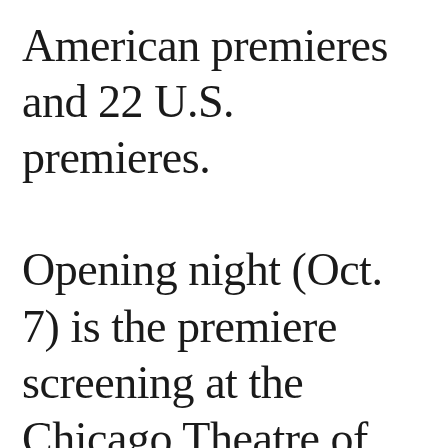American premieres and 22 U.S. premieres. Opening night (Oct. 7) is the premiere screening at the Chicago Theatre of “Kinsey,” starring Liam